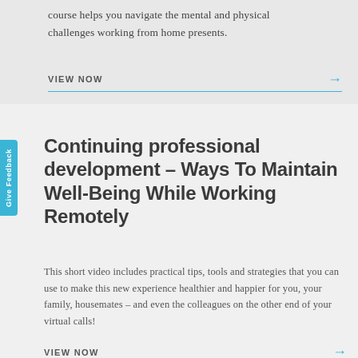course helps you navigate the mental and physical challenges working from home presents.
VIEW NOW →
Continuing professional development – Ways To Maintain Well-Being While Working Remotely
This short video includes practical tips, tools and strategies that you can use to make this new experience healthier and happier for you, your family, housemates – and even the colleagues on the other end of your virtual calls!
VIEW NOW →